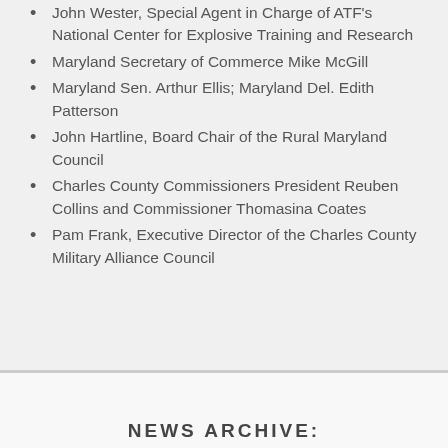John Wester, Special Agent in Charge of ATF's National Center for Explosive Training and Research
Maryland Secretary of Commerce Mike McGill
Maryland Sen. Arthur Ellis; Maryland Del. Edith Patterson
John Hartline, Board Chair of the Rural Maryland Council
Charles County Commissioners President Reuben Collins and Commissioner Thomasina Coates
Pam Frank, Executive Director of the Charles County Military Alliance Council
NEWS ARCHIVE: